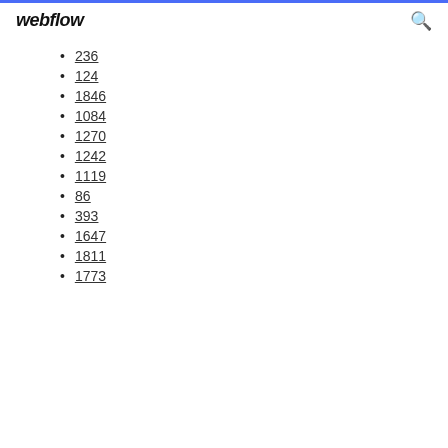webflow
236
124
1846
1084
1270
1242
1119
86
393
1647
1811
1773